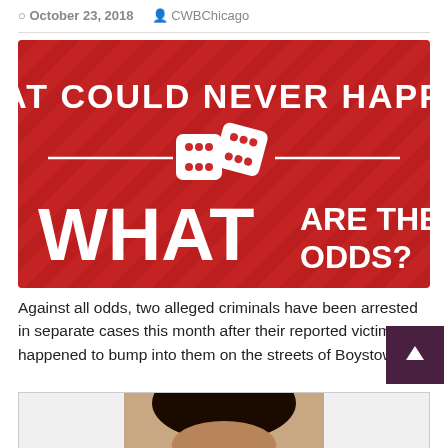October 23, 2018   CWBChicago
[Figure (infographic): Red background with diagonal stripe pattern. Text reads 'THAT COULD NEVER HAPPEN' at top in large white bold letters. Two white dice icons in center. Large white bold text at bottom reads 'WHAT ARE THE ODDS?']
Against all odds, two alleged criminals have been arrested in separate cases this month after their reported victims happened to bump into them on the streets of Boystown
[Figure (photo): Partial mugshot photo of a person with dark curly hair, cropped at the forehead]